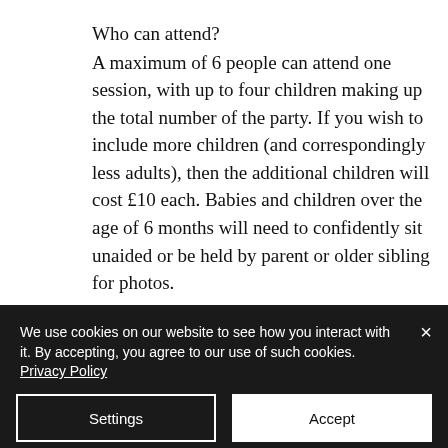Who can attend?
A maximum of 6 people can attend one session, with up to four children making up the total number of the party. If you wish to include more children (and correspondingly less adults), then the additional children will cost £10 each. Babies and children over the age of 6 months will need to confidently sit unaided or be held by parent or older sibling for photos.
We use cookies on our website to see how you interact with it. By accepting, you agree to our use of such cookies. Privacy Policy
Settings
Accept